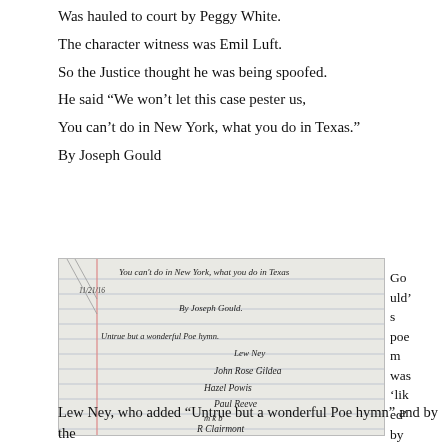Was hauled to court by Peggy White.
The character witness was Emil Luft.
So the Justice thought he was being spoofed.
He said “We won’t let this case pester us,
You can’t do in New York, what you do in Texas.”
By Joseph Gould
[Figure (photo): A photograph of a handwritten poem on lined notebook paper. The text reads: 'You can't do in New York, what you do in Texas' at the top, followed by 'By Joseph Gould.' Below that: 'Untrue but a wonderful Poe hymn.' There are several signatures at the bottom including Lew Ney, John Rose Gildea, Hazel Powis, Paul Reeve, and others.]
Gould’s poem was ‘liked’ by
Lew Ney, who added “Untrue but a wonderful Poe hymn” and by the